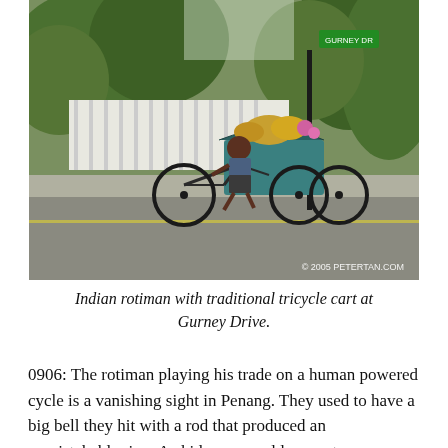[Figure (photo): An Indian rotiman riding a traditional tricycle cart loaded with bread and goods on a street at Gurney Drive, Penang. Trees and a fence are visible in the background. Watermark reads: © 2005 PETERTAN.COM]
Indian rotiman with traditional tricycle cart at Gurney Drive.
0906: The rotiman playing his trade on a human powered cycle is a vanishing sight in Penang. They used to have a big bell they hit with a rod that produced an unmistakable ring. As kids, we would run out upon hearing that to buy butter buns spread with butter and...